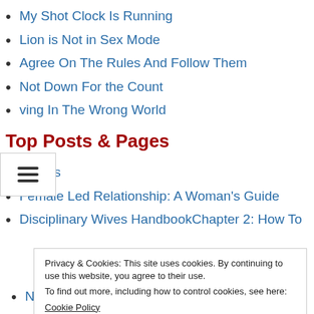My Shot Clock Is Running
Lion is Not in Sex Mode
Agree On The Rules And Follow Them
Not Down For the Count
ving In The Wrong World
Top Posts & Pages
Stories
Female Led Relationship: A Woman's Guide
Disciplinary Wives HandbookChapter 2: How To
Privacy & Cookies: This site uses cookies. By continuing to use this website, you agree to their use. To find out more, including how to control cookies, see here: Cookie Policy
Now He's Locked Up, What's Next